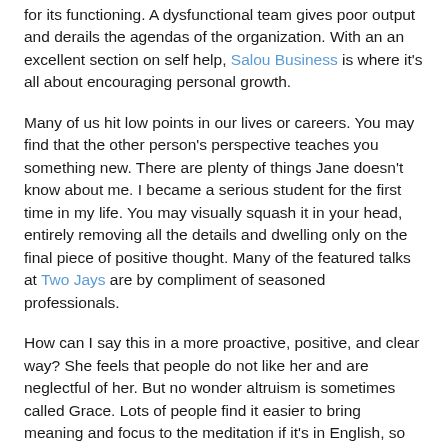for its functioning. A dysfunctional team gives poor output and derails the agendas of the organization. With an an excellent section on self help, Salou Business is where it's all about encouraging personal growth.
Many of us hit low points in our lives or careers. You may find that the other person's perspective teaches you something new. There are plenty of things Jane doesn't know about me. I became a serious student for the first time in my life. You may visually squash it in your head, entirely removing all the details and dwelling only on the final piece of positive thought. Many of the featured talks at Two Jays are by compliment of seasoned professionals.
How can I say this in a more proactive, positive, and clear way? She feels that people do not like her and are neglectful of her. But no wonder altruism is sometimes called Grace. Lots of people find it easier to bring meaning and focus to the meditation if it's in English, so don't feel like you're doing the Pass version – it's just as effective! There is no such thing as a perfect all round ideal because virtues carry disadvantages with